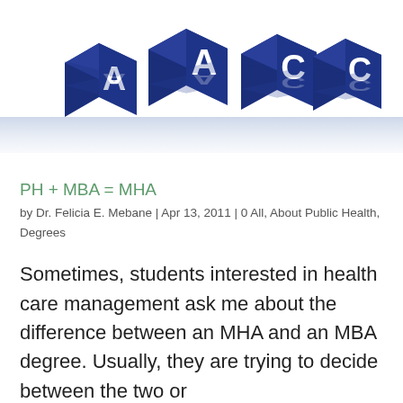[Figure (photo): Blue 3D letter blocks showing 'A', 'A', 'C', 'C' with reflections on a white surface, representing AACC logo]
PH + MBA = MHA
by Dr. Felicia E. Mebane | Apr 13, 2011 | 0 All, About Public Health, Degrees
Sometimes, students interested in health care management ask me about the difference between an MHA and an MBA degree. Usually, they are trying to decide between the two or